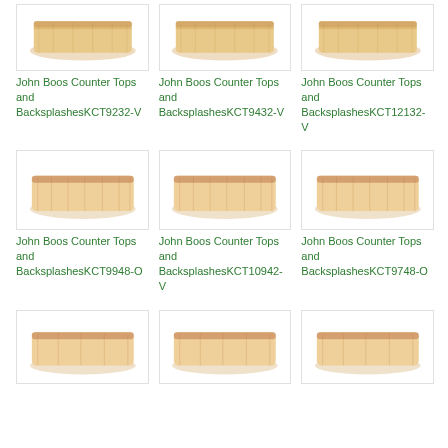[Figure (photo): Product image of John Boos Counter Tops and Backsplashes KCT9232-V - cutting board top view]
John Boos Counter Tops and BacksplashesKCT9232-V
[Figure (photo): Product image of John Boos Counter Tops and Backsplashes KCT9432-V - cutting board top view]
John Boos Counter Tops and BacksplashesKCT9432-V
[Figure (photo): Product image of John Boos Counter Tops and Backsplashes KCT12132-V - cutting board top view]
John Boos Counter Tops and BacksplashesKCT12132-V
[Figure (photo): Product image of John Boos Counter Tops and Backsplashes KCT9948-O - cutting board top view]
John Boos Counter Tops and BacksplashesKCT9948-O
[Figure (photo): Product image of John Boos Counter Tops and Backsplashes KCT10942-V - cutting board top view]
John Boos Counter Tops and BacksplashesKCT10942-V
[Figure (photo): Product image of John Boos Counter Tops and Backsplashes KCT9332-O - cutting board top view]
John Boos Counter Tops and BacksplashesKCT9332-O, KCT9748-O
[Figure (photo): Product image row 3 left - cutting board]
[Figure (photo): Product image row 3 center - cutting board]
[Figure (photo): Product image row 3 right - cutting board]